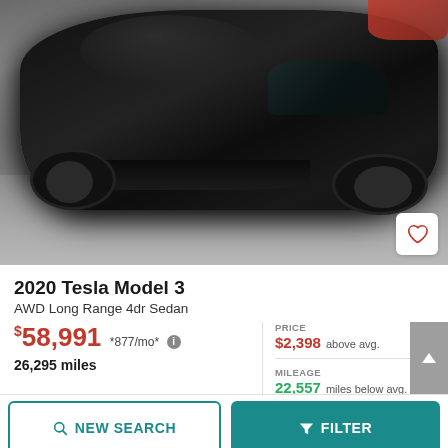[Figure (photo): Black 2020 Tesla Model 3 photographed from above-front angle in a parking lot, showing the hood and front of the car with a red car partially visible in the background.]
2020 Tesla Model 3
AWD Long Range 4dr Sedan
$58,991 *877/mo* 26,295 miles
PRICE $2,398 above avg.
MILEAGE 22,557 miles below avg.
NEW SEARCH
FILTER